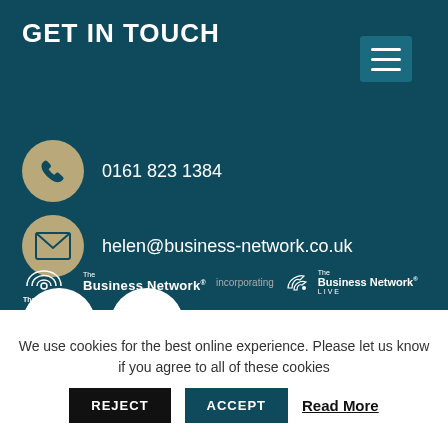GET IN TOUCH
0161 823 1384
helen@business-network.co.uk
[Figure (logo): LinkedIn and Twitter social media icons as circular buttons]
[Figure (logo): The Business Network logo incorporating The Business Network LIVE logo]
We use cookies for the best online experience. Please let us know if you agree to all of these cookies
REJECT
ACCEPT
Read More